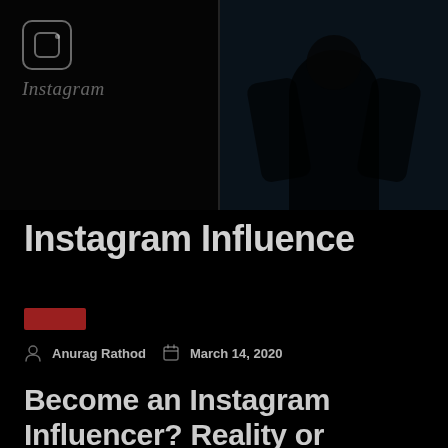[Figure (photo): Dark hero image area with Instagram logo icon and text on the left, and a dark right panel showing a blurred person silhouette. A vertical divider separates the two panels. Background is very dark/black.]
Instagram Influence
[Figure (other): Small dark red/maroon rectangular tag/label box]
Anurag Rathod   March 14, 2020
Become an Instagram Influencer? Reality or